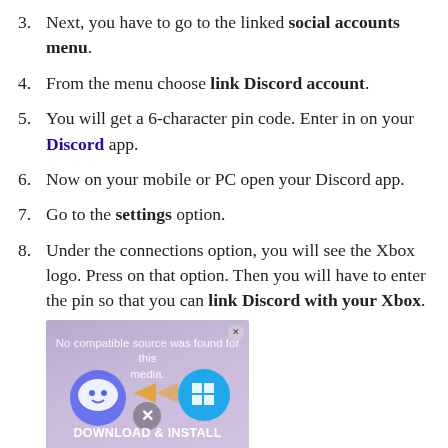3. Next, you have to go to the linked social accounts menu.
4. From the menu choose link Discord account.
5. You will get a 6-character pin code. Enter in on your Discord app.
6. Now on your mobile or PC open your Discord app.
7. Go to the settings option.
8. Under the connections option, you will see the Xbox logo. Press on that option. Then you will have to enter the pin so that you can link Discord with your Xbox.
[Figure (screenshot): An advertisement overlay showing Discord and Xbox logos with text 'No compatible source was found for this media.' and 'DOWNLOAD & INSTALL DISCORD' at the bottom]